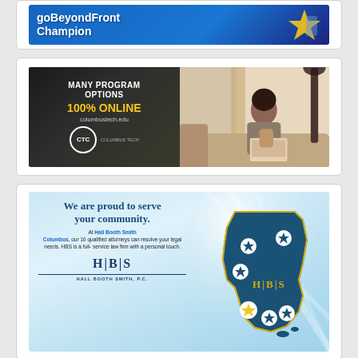[Figure (illustration): goBeyondFront Champion advertisement banner with blue background and star graphic]
[Figure (illustration): Columbus Tech advertisement: Many Program Options, 100% Online, columbustech.edu, CTC logo, woman studying on laptop]
[Figure (illustration): Hall Booth Smith law firm advertisement: We are proud to serve your community. At Hall Booth Smith Columbus, our 16 qualified attorneys can resolve your legal needs. HBS is a full-service law firm with a personal touch. H|B|S logo. Map of Georgia with star locations.]